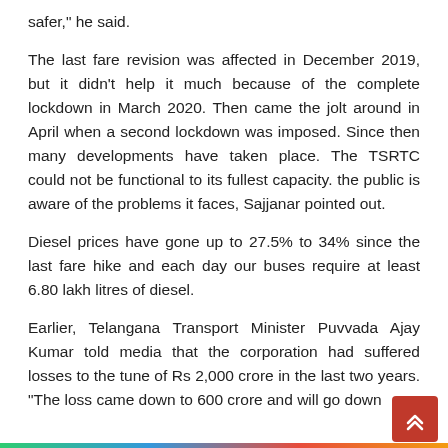safer," he said.
The last fare revision was affected in December 2019, but it didn't help it much because of the complete lockdown in March 2020. Then came the jolt around in April when a second lockdown was imposed. Since then many developments have taken place. The TSRTC could not be functional to its fullest capacity. the public is aware of the problems it faces, Sajjanar pointed out.
Diesel prices have gone up to 27.5% to 34% since the last fare hike and each day our buses require at least 6.80 lakh litres of diesel.
Earlier, Telangana Transport Minister Puvvada Ajay Kumar told media that the corporation had suffered losses to the tune of Rs 2,000 crore in the last two years. "The loss came down to 600 crore and will go down